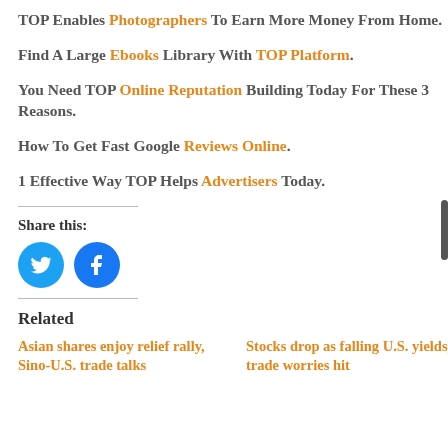TOP Enables Photographers To Earn More Money From Home.
Find A Large Ebooks Library With TOP Platform.
You Need TOP Online Reputation Building Today For These 3 Reasons.
How To Get Fast Google Reviews Online.
1 Effective Way TOP Helps Advertisers Today.
Share this:
[Figure (other): Twitter and Facebook social share icon buttons]
Related
Asian shares enjoy relief rally, Sino-U.S. trade talks
Stocks drop as falling U.S. yields, trade worries hit